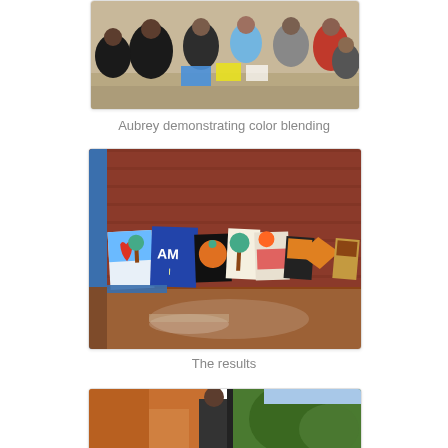[Figure (photo): Group of children and adults sitting in a circle on the ground outdoors, engaged in an art activity with papers and colors]
Aubrey demonstrating color blending
[Figure (photo): Colorful paintings by children leaning against a red brick wall on a tiled floor, showing trees, sun, hearts, pumpkins, flowers, and other motifs]
The results
[Figure (photo): Partial view of another photo at bottom of page showing people outdoors with greenery]